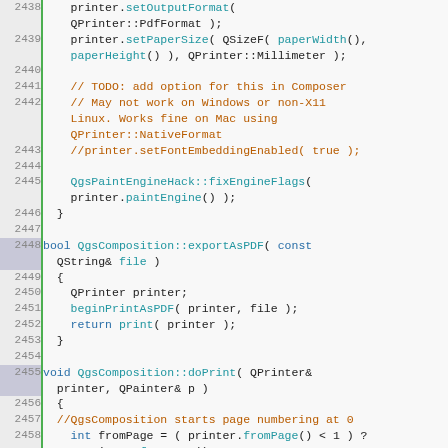[Figure (screenshot): Source code viewer showing C++ code for QgsComposition class, lines 2438-2463, with syntax highlighting. Green vertical bar separates line numbers from code. Keywords in blue, function names in teal, comments in orange/brown.]